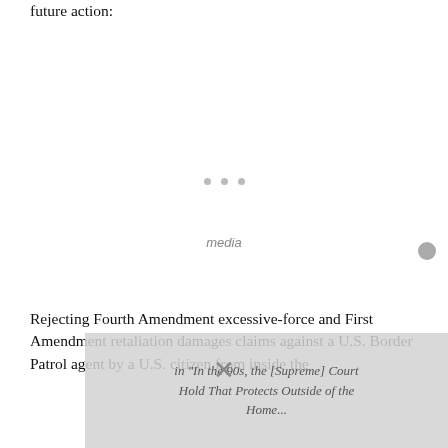future action:
[Figure (other): Three small gray dots indicating a loading or continuation element in the center of an otherwise blank area of the page.]
Rejecting Fourth Amendment excessive-force and First Amendment retaliation damages claims against a U.S. Border Patrol agent by a U.S. citizen from inside the...
[Figure (screenshot): A partially visible overlay/popup with italic gray text reading 'In the 90s, the [Supreme] Court Hold That Protects Outside of the Home...' with an X close button, obscuring part of the main text.]